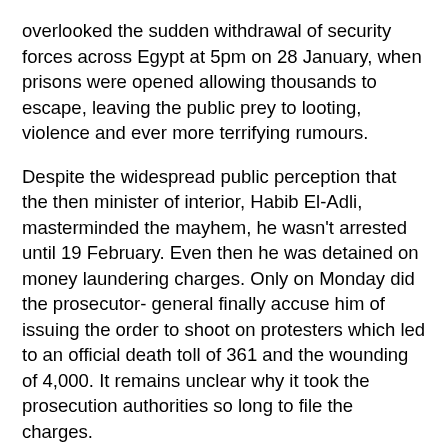overlooked the sudden withdrawal of security forces across Egypt at 5pm on 28 January, when prisons were opened allowing thousands to escape, leaving the public prey to looting, violence and ever more terrifying rumours.
Despite the widespread public perception that the then minister of interior, Habib El-Adli, masterminded the mayhem, he wasn't arrested until 19 February. Even then he was detained on money laundering charges. Only on Monday did the prosecutor- general finally accuse him of issuing the order to shoot on protesters which led to an official death toll of 361 and the wounding of 4,000. It remains unclear why it took the prosecution authorities so long to file the charges.
The Defence Front for Egypt's Protesters, a group of 34 rights groups formed last year, has issued a list of 527 people killed during the revolution. According to the Front's online data base the majority of deaths were caused by live ammunition. There are, however, cases of protesters being killed after they were deliberately run over by armoured vehicles, shot at close range by rubber bullets, or